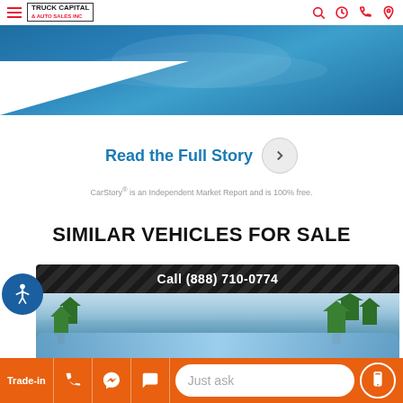Truck Capital & Auto Sales Inc — navigation header with logo and icons
[Figure (photo): Blue banner with diagonal shape and car/vehicle reflection]
Read the Full Story
CarStory® is an Independent Market Report and is 100% free.
SIMILAR VEHICLES FOR SALE
[Figure (photo): Vehicle listing card showing Call (888) 710-0774 on dark diamond-plate banner with vehicle photo showing trees and sky]
Trade-in | phone | messenger | chat | Just ask | mobile icon